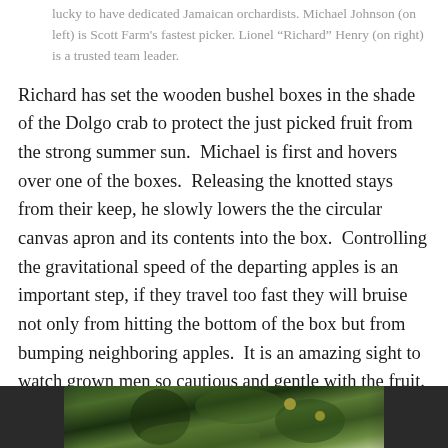lucky to have dedicated Jamaican orchardists. Michael Johnson (on left) is Scott Farm's fastest picker. Lionel “Richard” Henry (on right) is a trusted team leader.
Richard has set the wooden bushel boxes in the shade of the Dolgo crab to protect the just picked fruit from the strong summer sun.  Michael is first and hovers over one of the boxes.  Releasing the knotted stays from their keep, he slowly lowers the the circular canvas apron and its contents into the box.  Controlling the gravitational speed of the departing apples is an important step, if they travel too fast they will bruise not only from hitting the bottom of the box but from bumping neighboring apples.  It is an amazing sight to watch grown men so cautious and gentle with the fruit.
[Figure (photo): Bottom strip of a photograph showing people picking apples in an orchard, partially visible at the bottom of the page.]